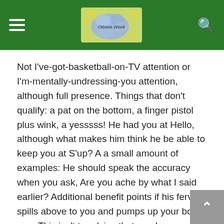Ottawa Week
Not I've-got-basketball-on-TV attention or I'm-mentally-undressing-you attention, although full presence. Things that don't qualify: a pat on the bottom, a finger pistol plus wink, a yesssss! He had you at Hello, although what makes him think he be able to keep you at S'up? A a small amount of examples: He should speak the accuracy when you ask, Are you ache by what I said earlier? Additional benefit points if his fervor spills above to you and pumps up your body ego. This isn't to advise that maple syrup, cartwheels and the French maid costume are out, although you should be having plain vanilla love whenever you want it. Sylvie, 31, confesses: I insisted one boyfriend change his online profile from single' to in a relationship. He revels in your achievements, doesn't